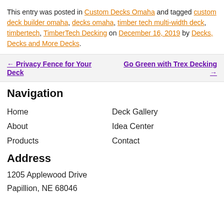This entry was posted in Custom Decks Omaha and tagged custom deck builder omaha, decks omaha, timber tech multi-width deck, timbertech, TimberTech Decking on December 16, 2019 by Decks, Decks and More Decks.
← Privacy Fence for Your Deck | Go Green with Trex Decking →
Navigation
Home
About
Products
Deck Gallery
Idea Center
Contact
Address
1205 Applewood Drive
Papillion, NE 68046